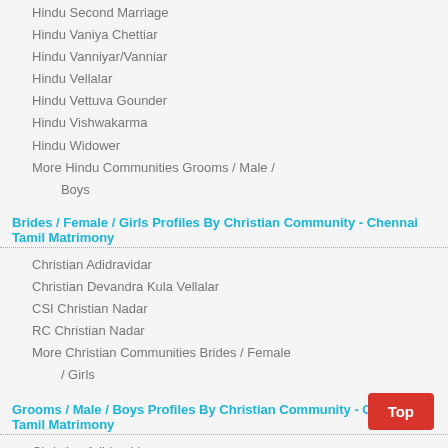Hindu Second Marriage
Hindu Vaniya Chettiar
Hindu Vanniyar/Vanniar
Hindu Vellalar
Hindu Vettuva Gounder
Hindu Vishwakarma
Hindu Widower
More Hindu Communities Grooms / Male / Boys
Brides / Female / Girls Profiles By Christian Community - Chennai Tamil Matrimony
Christian Adidravidar
Christian Devandra Kula Vellalar
CSI Christian Nadar
RC Christian Nadar
More Christian Communities Brides / Female / Girls
Grooms / Male / Boys Profiles By Christian Community - Chennai Tamil Matrimony
Christian Adidravidar